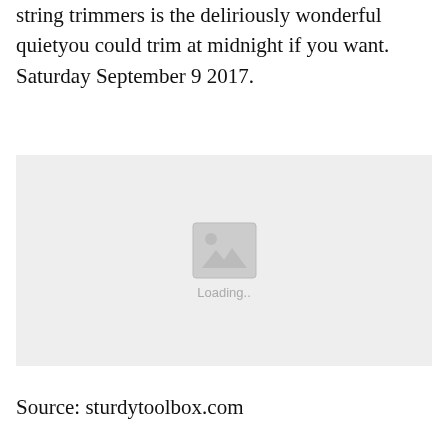string trimmers is the deliriously wonderful quietyou could trim at midnight if you want. Saturday September 9 2017.
[Figure (photo): Image placeholder with loading icon and 'Loading..' text on a light grey background]
Source: sturdytoolbox.com